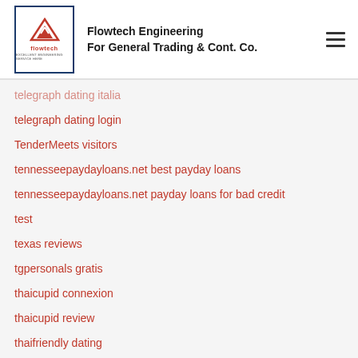Flowtech Engineering For General Trading & Cont. Co.
telegraph dating italia
telegraph dating login
TenderMeets visitors
tennesseepaydayloans.net best payday loans
tennesseepaydayloans.net payday loans for bad credit
test
texas reviews
tgpersonals gratis
thaicupid connexion
thaicupid review
thaifriendly dating
ThaiDatonly ...